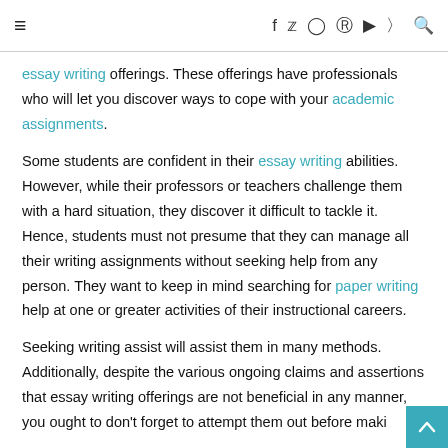≡  f  🐦  📷  P  ▶  ⊕  🔍
essay writing offerings. These offerings have professionals who will let you discover ways to cope with your academic assignments.
Some students are confident in their essay writing abilities. However, while their professors or teachers challenge them with a hard situation, they discover it difficult to tackle it. Hence, students must not presume that they can manage all their writing assignments without seeking help from any person. They want to keep in mind searching for paper writing help at one or greater activities of their instructional careers.
Seeking writing assist will assist them in many methods. Additionally, despite the various ongoing claims and assertions that essay writing offerings are not beneficial in any manner, you ought to don't forget to attempt them out before maki...